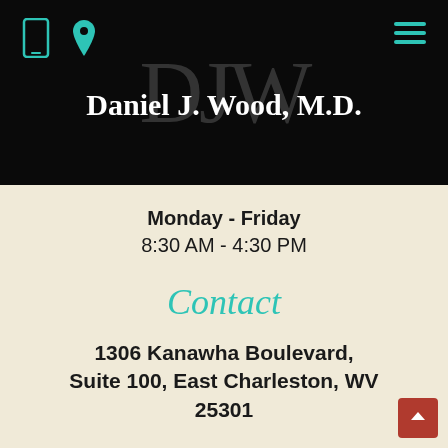[Figure (logo): Navigation bar with phone icon, location pin icon in teal, and hamburger menu icon in teal on black background, with DJW monogram watermark and doctor name]
Daniel J. Wood, M.D.
Monday - Friday
8:30 AM - 4:30 PM
Contact
1306 Kanawha Boulevard, Suite 100, East Charleston, WV 25301